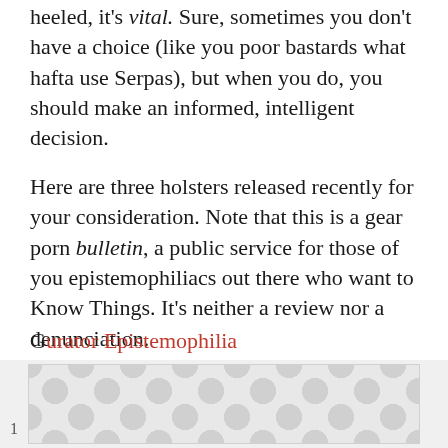heeled, it's vital. Sure, sometimes you don't have a choice (like you poor bastards what hafta use Serpas), but when you do, you should make an informed, intelligent decision.
Here are three holsters released recently for your consideration. Note that this is a gear porn bulletin, a public service for those of you epistemophiliacs out there who want to Know Things. It's neither a review nor a denunciation.
Curator Epistemophilia
[Figure (other): Advertisement banner with polka dot/bubble pattern overlay]
1